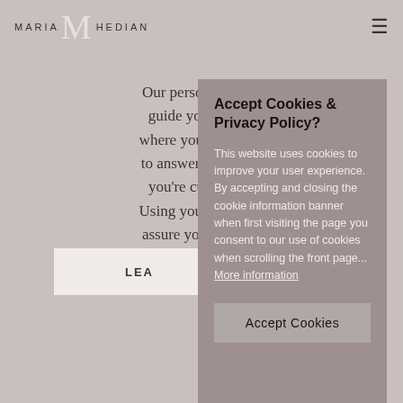[Figure (logo): Maria Hedian logo with large decorative M letter mark and text MARIA HEDIAN in spaced caps]
Our personalized C... guide you along i... where you are in the... to answer any quest... you're currently s... Using your experien... assure you, you wil... with professio...
LEAR...
Accept Cookies & Privacy Policy?
This website uses cookies to improve your user experience. By accepting and closing the cookie information banner when first visiting the page you consent to our use of cookies when scrolling the front page... More information
Accept Cookies